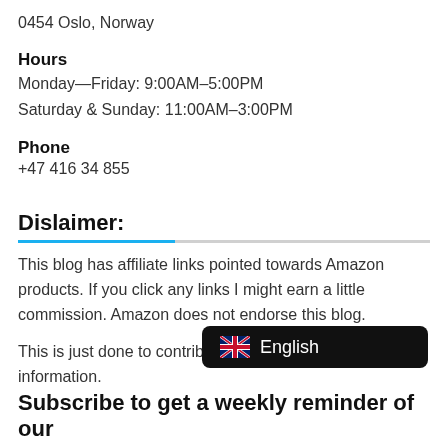0454 Oslo, Norway
Hours
Monday—Friday: 9:00AM–5:00PM
Saturday & Sunday: 11:00AM–3:00PM
Phone
+47 416 34 855
Dislaimer:
This blog has affiliate links pointed towards Amazon products. If you click any links I might earn a little commission. Amazon does not endorse this blog.
This is just done to contribute to more articles and information.
[Figure (other): Language selector button showing English flag and text 'English' on dark background]
Subscribe to get a weekly reminder of our